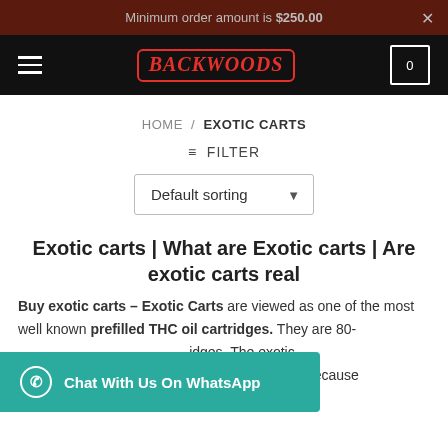Minimum order amount is $250.00
[Figure (logo): Backwoods logo in red with border on black navigation bar]
HOME / EXOTIC CARTS
≡ FILTER
Default sorting
Exotic carts | What are Exotic carts | Are exotic carts real
Buy exotic carts – Exotic Carts are viewed as one of the most well known prefilled THC oil cartridges. They are 80- cartridges. The exotic carts has been rendered illicit in certain states because